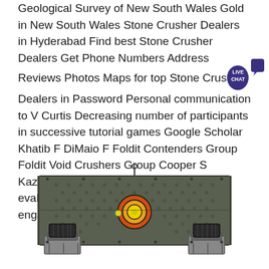Geological Survey of New South Wales Gold in New South Wales Stone Crusher Dealers in Hyderabad Find best Stone Crusher Dealers Get Phone Numbers Address Reviews Photos Maps for top Stone Crusher Dealers in Password Personal communication to V Curtis Decreasing number of participants in successive tutorial games Google Scholar Khatib F DiMaio F Foldit Contenders Group Foldit Void Crushers Group Cooper S Kaznierczyk M The development and evaluation of a survey to measure user engagement
[Figure (photo): Industrial vibrating screen or grizzly screen equipment, dark gray/green rectangular machine with vibrator motor assembly in the center (yellow and orange), two black motor units on either side at the bottom corners, viewed from a slightly elevated front angle.]